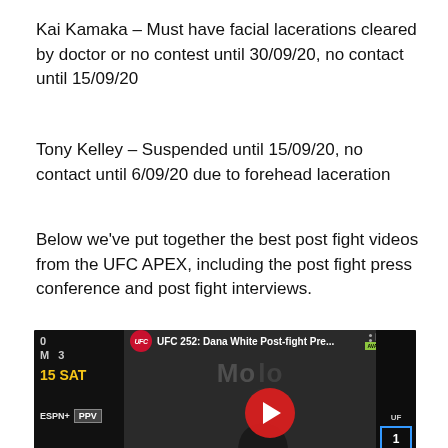Kai Kamaka – Must have facial lacerations cleared by doctor or no contest until 30/09/20, no contact until 15/09/20
Tony Kelley – Suspended until 15/09/20, no contact until 6/09/20 due to forehead laceration
Below we've put together the best post fight videos from the UFC APEX, including the post fight press conference and post fight interviews.
[Figure (screenshot): YouTube video thumbnail for UFC 252: Dana White Post-fight Press conference. Shows UFC logo, video title, Modelo branding, a person at a podium, and a red YouTube play button.]